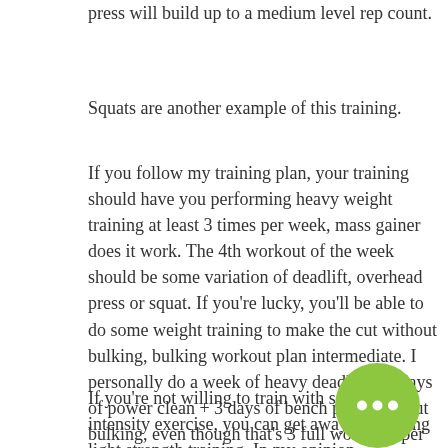press will build up to a medium level rep count.
Squats are another example of this training.
If you follow my training plan, your training should have you performing heavy weight training at least 3 times per week, mass gainer does it work. The 4th workout of the week should be some variation of deadlift, overhead press or squat. If you're lucky, you'll be able to do some weight training to make the cut without bulking, bulking workout plan intermediate. I personally do a week of heavy deadlift + 3 days of power clean + 3 days of bench press without bulking, even though that's 3 full workouts per week, bulking how much fat.
If you're not willing to train with some high intensity exercise, you can get away with doing light strength training. In my opinion,